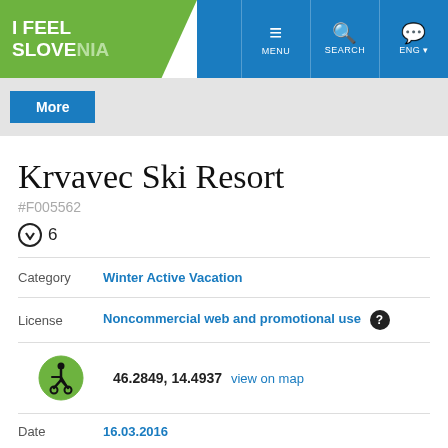I FEEL SLOVENIA | MENU | SEARCH | ENG
More
Krvavec Ski Resort
#F005562
⬇ 6
| Field | Value |
| --- | --- |
| Category | Winter Active Vacation |
| License | Noncommercial web and promotional use |
|  | 46.2849, 14.4937  view on map |
| Date | 16.03.2016 |